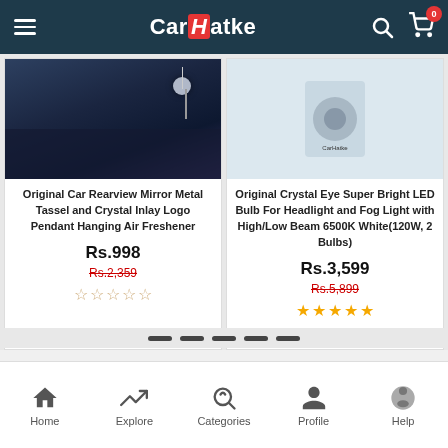CarHatke
[Figure (screenshot): Product card showing car rearview mirror pendant hanging air freshener - dark blue car interior background]
Original Car Rearview Mirror Metal Tassel and Crystal Inlay Logo Pendant Hanging Air Freshener
Rs.998
Rs.2,359
☆☆☆☆☆ (0 stars)
[Figure (screenshot): Product card showing Crystal Eye LED Bulb for headlight - light grey background with product packaging]
Original Crystal Eye Super Bright LED Bulb For Headlight and Fog Light with High/Low Beam 6500K White(120W, 2 Bulbs)
Rs.3,599
Rs.5,899
★★★★★ (5 stars)
Home  Explore  Categories  Profile  Help